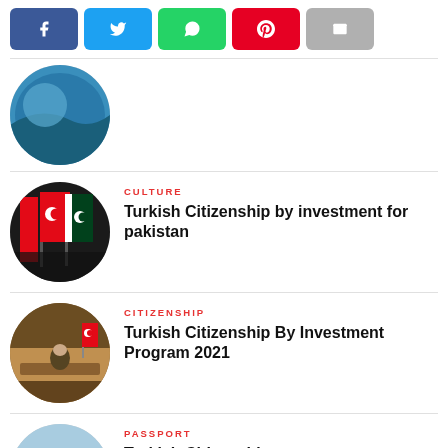[Figure (other): Social media share buttons: Facebook (blue), Twitter (light blue), WhatsApp (green), Pinterest (red), Email (grey)]
[Figure (photo): Circular thumbnail showing Turkish and Pakistani flags, partial view]
CULTURE
Turkish Citizenship by investment for pakistan
[Figure (photo): Circular thumbnail showing a meeting room with Turkish flag and person seated at head of table]
CITIZENSHIP
Turkish Citizenship By Investment Program 2021
[Figure (photo): Circular thumbnail showing Turkish flag waving over a map silhouette]
PASSPORT
Turkish Citizenship